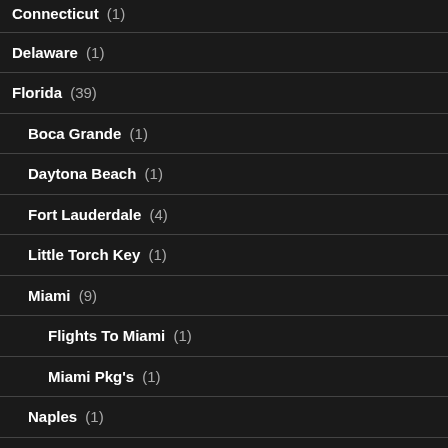Connecticut (1)
Delaware (1)
Florida (39)
Boca Grande (1)
Daytona Beach (1)
Fort Lauderdale (4)
Little Torch Key (1)
Miami (9)
Flights To Miami (1)
Miami Pkg's (1)
Naples (1)
Orlando (7)
Flights To Orlando (1)